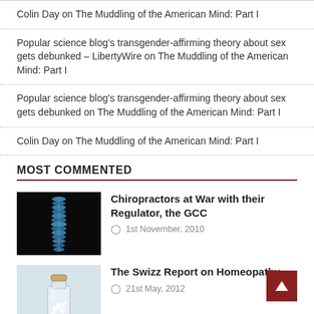Colin Day on The Muddling of the American Mind: Part I
Popular science blog's transgender-affirming theory about sex gets debunked – LibertyWire on The Muddling of the American Mind: Part I
Popular science blog's transgender-affirming theory about sex gets debunked on The Muddling of the American Mind: Part I
Colin Day on The Muddling of the American Mind: Part I
MOST COMMENTED
[Figure (photo): X-ray or illuminated image of a human spine on a black background]
Chiropractors at War with their Regulator, the GCC
1st November, 2010
[Figure (photo): A small glass bottle with a cork stopper containing white pills or powder, on a light background]
The Swizz Report on Homeopathy
21st May, 2012